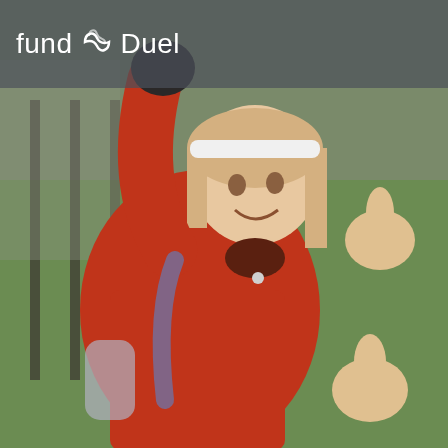[Figure (photo): A young girl with blonde hair wearing a red coat and a white headband, giving a thumbs up gesture. She is smiling at the camera. Another person beside her is also giving a thumbs up. Green grass and a fence are visible in the background.]
Fund Duel